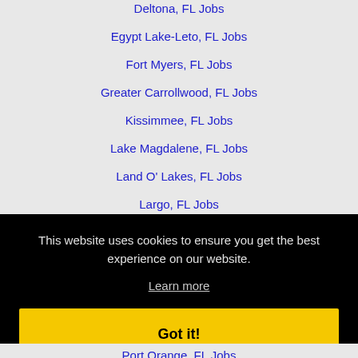Deltona, FL Jobs
Egypt Lake-Leto, FL Jobs
Fort Myers, FL Jobs
Greater Carrollwood, FL Jobs
Kissimmee, FL Jobs
Lake Magdalene, FL Jobs
Land O' Lakes, FL Jobs
Largo, FL Jobs
Melbourne, FL Jobs
North Fort Myers, FL Jobs
This website uses cookies to ensure you get the best experience on our website.
Learn more
Got it!
Port Orange, FL Jobs